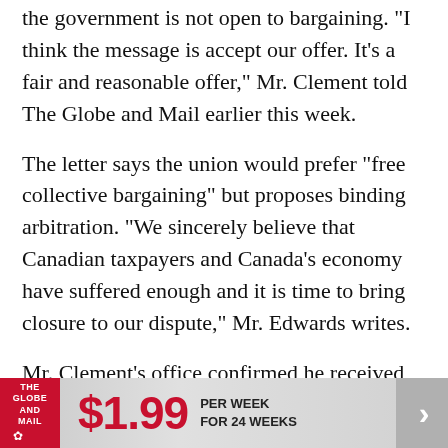the government is not open to bargaining. "I think the message is accept our offer. It's a fair and reasonable offer," Mr. Clement told The Globe and Mail earlier this week.
The letter says the union would prefer "free collective bargaining" but proposes binding arbitration. "We sincerely believe that Canadian taxpayers and Canada's economy have suffered enough and it is time to bring closure to our dispute," Mr. Edwards writes.
Mr. Clement's office confirmed he received the letter Thursday, but gave no sign as to whether it's interested in binding arbitration. "He will review it and act in due course. Our government will always
[Figure (other): The Globe and Mail subscription advertisement banner showing logo, price $1.99 per week for 24 weeks, with red arrow button on right]